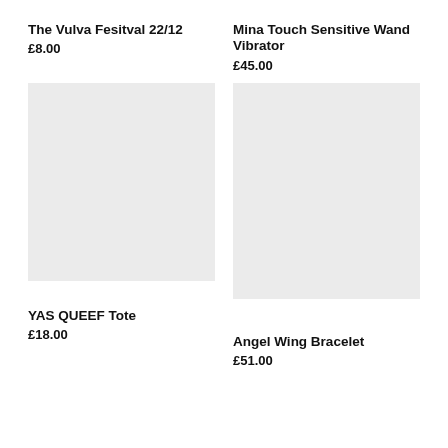The Vulva Fesitval 22/12
£8.00
Mina Touch Sensitive Wand Vibrator
£45.00
[Figure (photo): Product image placeholder for YAS QUEEF Tote]
[Figure (photo): Product image placeholder for Angel Wing Bracelet]
YAS QUEEF Tote
£18.00
Angel Wing Bracelet
£51.00